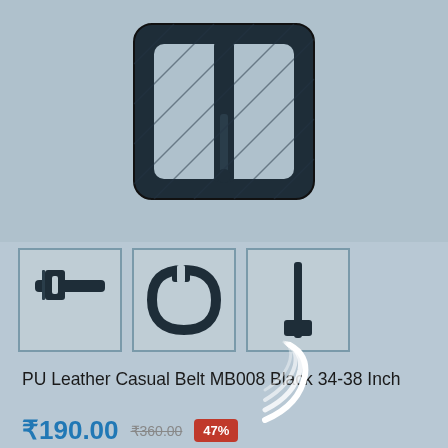[Figure (photo): Main product photo showing a dark navy/black square belt buckle on a light blue-grey background]
[Figure (photo): Thumbnail 1: close-up of belt buckle attached to belt strap]
[Figure (photo): Thumbnail 2: full belt coiled in a circle showing the buckle]
[Figure (photo): Thumbnail 3: belt hanging vertically showing full length]
PU Leather Casual Belt MB008 Black 34-38 Inch
₹190.00  ₹360.00  47%
Delivery Check
Available offers
Get GST invoice and save up to 28% on business purchases